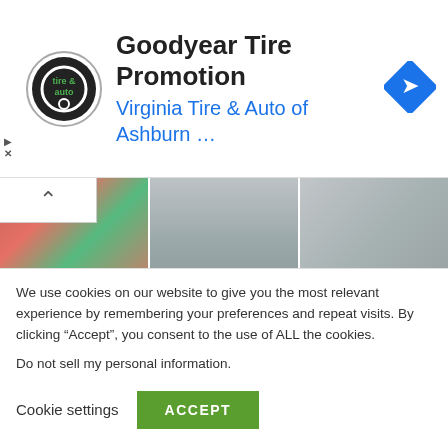[Figure (screenshot): Goodyear Tire Promotion advertisement banner with Virginia Tire & Auto logo, headline text, and navigation icon]
[Figure (photo): News article thumbnails grid: three news cards with NATION badges showing Indian political/crime news stories]
We use cookies on our website to give you the most relevant experience by remembering your preferences and repeat visits. By clicking “Accept”, you consent to the use of ALL the cookies.
Do not sell my personal information.
Cookie settings    ACCEPT